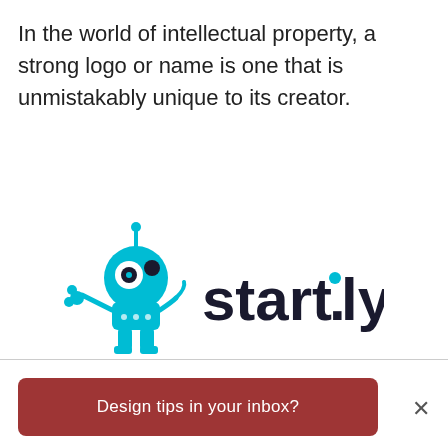In the world of intellectual property, a strong logo or name is one that is unmistakably unique to its creator.
[Figure (logo): start.ly logo: a cyan/teal robot mascot on the left with circular body, antenna, large eye, small dot eye, and crab-like claws; followed by the text 'start.ly' in bold dark navy font with a cyan dot above the period between 'start' and 'ly']
Design tips in your inbox?